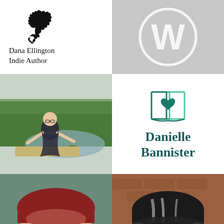[Figure (logo): Dana Ellington Indie Author logo with black dragon/lizard silhouette above the text]
[Figure (logo): WordPress 'W' logo in white on light grey background]
[Figure (photo): Photo of a young woman with glasses standing outdoors near a pond with lily pads and trees]
[Figure (logo): Open book with heart icon logo above 'Danielle Bannister' text in dark teal]
Danielle
Bannister
[Figure (photo): Close-up photo of a woman with short red hair and green eyes]
[Figure (photo): Close-up photo of a woman with black and grey hair wearing glasses, brick background]